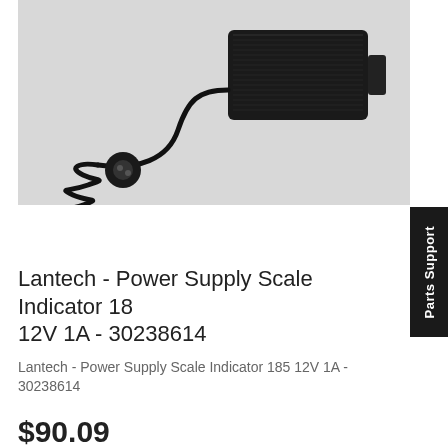[Figure (photo): A black power supply adapter with a coiled cable and connector, placed on a light surface. The adapter is a rectangular black unit with a cable.]
Lantech - Power Supply Scale Indicator 185 12V 1A - 30238614
Lantech - Power Supply Scale Indicator 185 12V 1A - 30238614
$90.09
Add to Cart